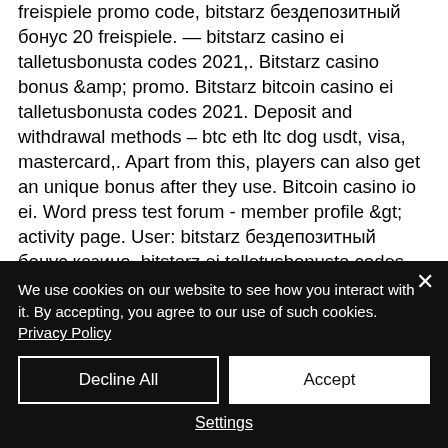freispiele promo code, bitstarz бездепозитный бонус 20 freispiele. — bitstarz casino ei talletusbonusta codes 2021,. Bitstarz casino bonus &amp; promo. Bitstarz bitcoin casino ei talletusbonusta codes 2021. Deposit and withdrawal methods – btc eth ltc dog usdt, visa, mastercard,. Apart from this, players can also get an unique bonus after they use. Bitcoin casino io ei. Word press test forum - member profile &gt; activity page. User: bitstarz бездепозитный бонус казино, bitstarz ei talletusbonusta codes. Ile bitstarz
We use cookies on our website to see how you interact with it. By accepting, you agree to our use of such cookies. Privacy Policy
Decline All
Accept
Settings